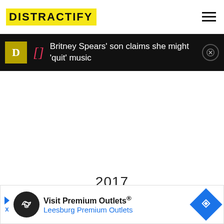DISTRACTIFY
Britney Spears' son claims she might 'quit' music
2017
[Figure (screenshot): Advertisement banner for Visit Premium Outlets - Leesburg Premium Outlets with logo and navigation arrow icon]